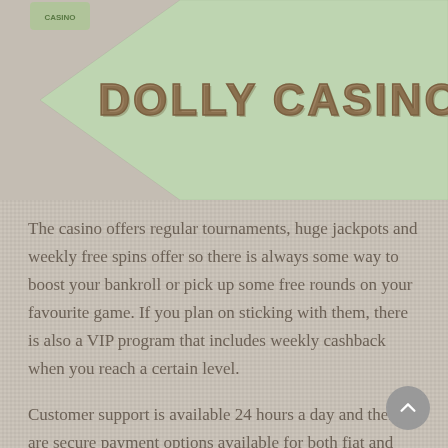[Figure (illustration): A light green pennant/banner shape pointing left with 'DOLLY CASINO' text in brown/tan decorative font in the center, on a textured grey background.]
The casino offers regular tournaments, huge jackpots and weekly free spins offer so there is always some way to boost your bankroll or pick up some free rounds on your favourite game. If you plan on sticking with them, there is also a VIP program that includes weekly cashback when you reach a certain level.
Customer support is available 24 hours a day and there are secure payment options available for both fiat and cryptocurrency players. The casino is licensed by the Curacao government ensuring a safe, fair and fun gambling session.